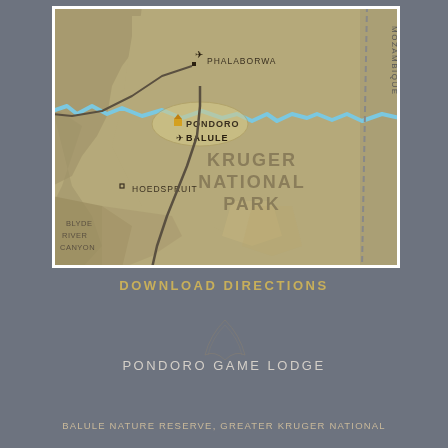[Figure (map): Map showing Kruger National Park area with Pondoro and Balule locations, Phalaborwa and Hoedspruit towns, Blyde River Canyon, Mozambique border, and a river running through the map.]
DOWNLOAD DIRECTIONS
PONDORO GAME LODGE
BALULE NATURE RESERVE, GREATER KRUGER NATIONAL